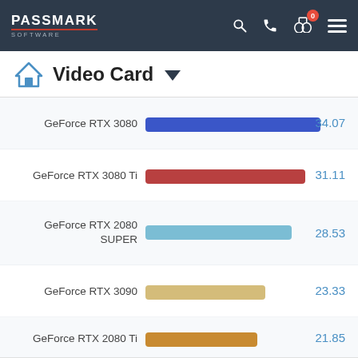PassMark Software
Video Card
[Figure (bar-chart): Video Card Benchmark Scores]